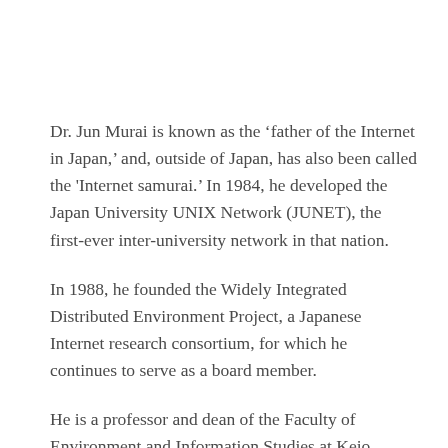Dr. Jun Murai is known as the ‘father of the Internet in Japan,’ and, outside of Japan, has also been called the 'Internet samurai.’ In 1984, he developed the Japan University UNIX Network (JUNET), the first-ever inter-university network in that nation.
In 1988, he founded the Widely Integrated Distributed Environment Project, a Japanese Internet research consortium, for which he continues to serve as a board member.
He is a professor and dean of the Faculty of Environment and Information Studies at Keio University, from which he earned his PhD in computer science in 1987.
He served as President of the Japan Network Information Center (JPNIC) and as Vice President of the Japanese Internet